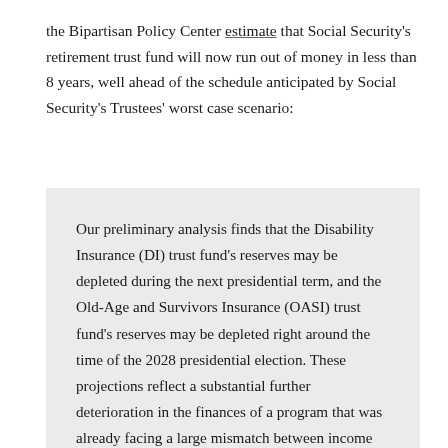the Bipartisan Policy Center estimate that Social Security's retirement trust fund will now run out of money in less than 8 years, well ahead of the schedule anticipated by Social Security's Trustees' worst case scenario:
Our preliminary analysis finds that the Disability Insurance (DI) trust fund's reserves may be depleted during the next presidential term, and the Old-Age and Survivors Insurance (OASI) trust fund's reserves may be depleted right around the time of the 2028 presidential election. These projections reflect a substantial further deterioration in the finances of a program that was already facing a large mismatch between income and outlays, making the need for action by policymakers even more urgent.